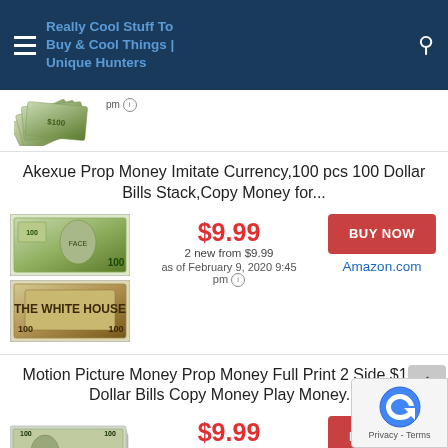Really Cool Stuff To Buy & Cool Things | Unique Hunters
[Figure (photo): Fan of $100 dollar bills prop money, partially visible at top]
as of February 9, 2020 9:45 pm
Akexue Prop Money Imitate Currency,100 pcs 100 Dollar Bills Stack,Copy Money for...
[Figure (photo): Two $100 prop dollar bills, front and back views]
$9.99
2 new from $9.99
as of February 9, 2020 9:45 pm
BUY NOW
Amazon.com
Motion Picture Money Prop Money Full Print 2 Side $100 Dollar Bills Copy Money Play Money...
[Figure (photo): Stack of prop $100 dollar bills]
$9.99
$12.99
as of February 9, 2020 9:45 pm
BUY NOW
Amazon.
[Figure (other): Google reCAPTCHA widget showing Privacy - Terms]